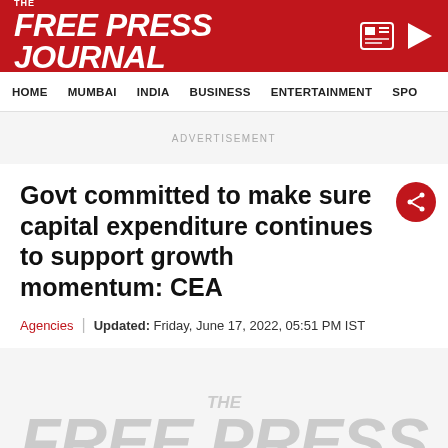THE FREE PRESS JOURNAL
HOME | MUMBAI | INDIA | BUSINESS | ENTERTAINMENT | SPO
ADVERTISEMENT
Govt committed to make sure capital expenditure continues to support growth momentum: CEA
Agencies | Updated: Friday, June 17, 2022, 05:51 PM IST
[Figure (logo): THE FREE PRESS JOURNAL watermark logo in light grey]